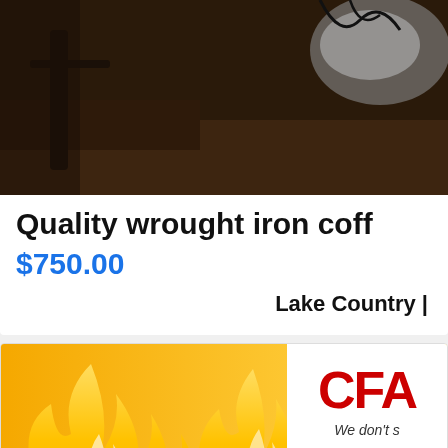[Figure (photo): Partial photo of a wrought iron coffee table on a dark wood floor, with some metallic/glass object visible in upper right]
Quality wrought iron coff
$750.00
Lake Country |
[Figure (illustration): Summer Sizzling Event advertisement banner with flame graphics on orange/yellow gradient background, sun icon, and beach umbrella. Right side shows CFA logo and 'We don't s...' tagline with a VI button]